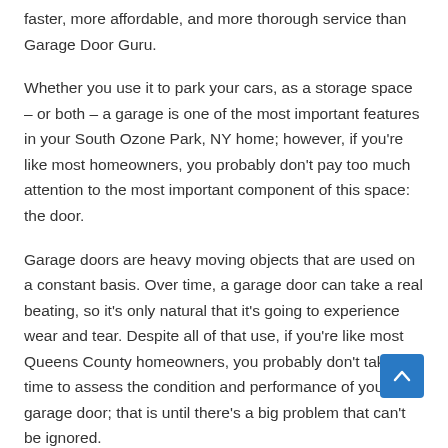faster, more affordable, and more thorough service than Garage Door Guru.
Whether you use it to park your cars, as a storage space – or both – a garage is one of the most important features in your South Ozone Park, NY home; however, if you're like most homeowners, you probably don't pay too much attention to the most important component of this space: the door.
Garage doors are heavy moving objects that are used on a constant basis. Over time, a garage door can take a real beating, so it's only natural that it's going to experience wear and tear. Despite all of that use, if you're like most Queens County homeowners, you probably don't take the time to assess the condition and performance of your garage door; that is until there's a big problem that can't be ignored.
Inspecting your garage door on a regular basis is vital. Routine